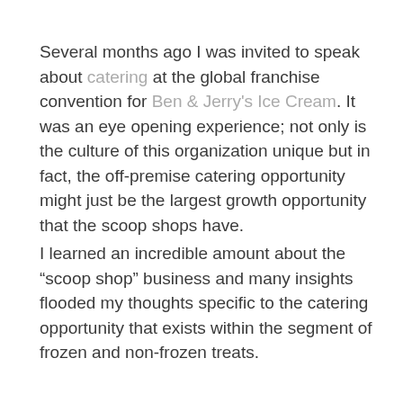Several months ago I was invited to speak about catering at the global franchise convention for Ben & Jerry's Ice Cream. It was an eye opening experience; not only is the culture of this organization unique but in fact, the off-premise catering opportunity might just be the largest growth opportunity that the scoop shops have.
I learned an incredible amount about the “scoop shop” business and many insights flooded my thoughts specific to the catering opportunity that exists within the segment of frozen and non-frozen treats.